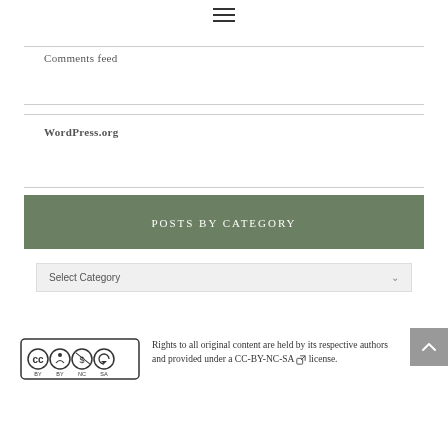≡
Comments feed
WordPress.org
POSTS BY CATEGORY
Select Category
Rights to all original content are held by its respective authors and provided under a CC-BY-NC-SA license.